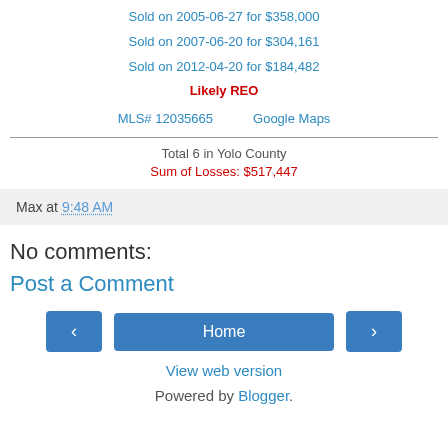Sold on 2005-06-27 for $358,000
Sold on 2007-06-20 for $304,161
Sold on 2012-04-20 for $184,482
Likely REO
MLS# 12035665    Google Maps
Total 6 in Yolo County
Sum of Losses: $517,447
Max at 9:48 AM
No comments:
Post a Comment
‹  Home  ›
View web version
Powered by Blogger.